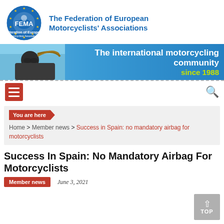[Figure (logo): FEMA circular logo with blue background, motorcyclist silhouette, and yellow stars around the border]
The Federation of European Motorcyclists' Associations
[Figure (photo): Banner image: motorcyclist riding with helmet, blue sky background, text 'The international motorcycling community since 1988']
[Figure (infographic): Navigation bar with red hamburger menu icon on left and search magnifier icon on right]
You are here
Home > Member news > Success in Spain: no mandatory airbag for motorcyclists
Success In Spain: No Mandatory Airbag For Motorcyclists
Member news  June 3, 2021